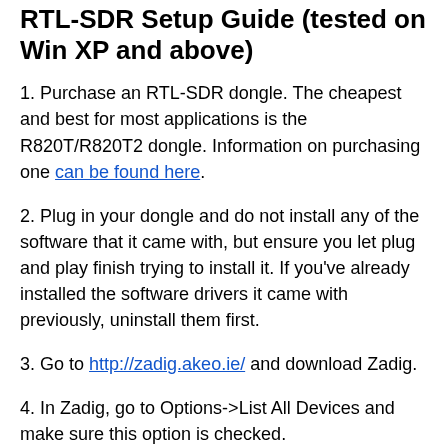RTL-SDR Setup Guide (tested on Win XP and above)
1. Purchase an RTL-SDR dongle. The cheapest and best for most applications is the R820T/R820T2 dongle. Information on purchasing one can be found here.
2. Plug in your dongle and do not install any of the software that it came with, but ensure you let plug and play finish trying to install it. If you've already installed the software drivers it came with previously, uninstall them first.
3. Go to http://zadig.akeo.ie/ and download Zadig.
4. In Zadig, go to Options->List All Devices and make sure this option is checked.
5. Select "Bulk-In, Interface (Interface 0)" from the drop down list. Note on some PCs you may see something like RTL2832UHIDIR or RTL2832U instead of the bulk in interface. This is also a valid selection. Double check that USB ID shows "0BDA 2838 00" as this indicates that the dongle is